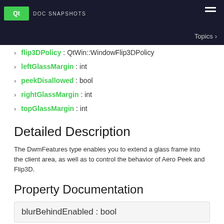Qt Doc (logo bar)
Topics >
flip3DPolicy : QtWin::WindowFlip3DPolicy
leftGlassMargin : int
peekDisallowed : bool
rightGlassMargin : int
topGlassMargin : int
Detailed Description
The DwmFeatures type enables you to extend a glass frame into the client area, as well as to control the behavior of Aero Peek and Flip3D.
Property Documentation
blurBehindEnabled : bool
Specifies whether the blur behind the window client area is enabled.